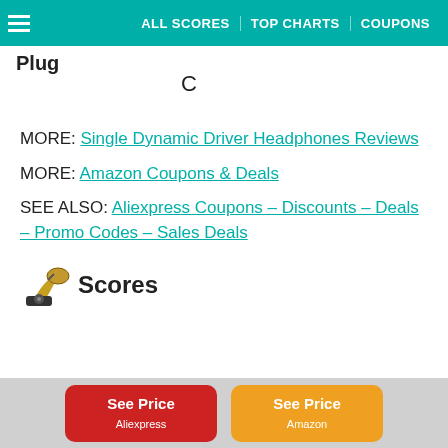ALL SCORES  TOP CHARTS  COUPONS
Plug
C
MORE: Single Dynamic Driver Headphones Reviews
MORE: Amazon Coupons & Deals
SEE ALSO: Aliexpress Coupons – Discounts – Deals – Promo Codes – Sales Deals
Scores
See Price Aliexpress  See Price Amazon